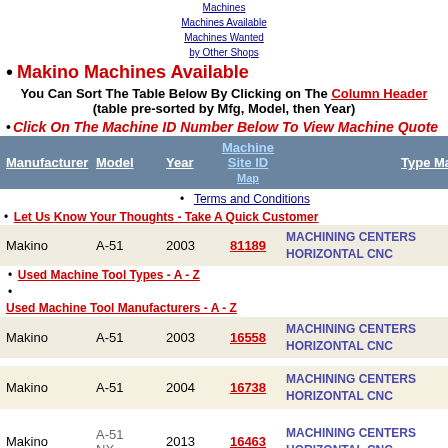Machines | Machines Available | Machines Wanted by Other Shops | Other Machine | Tool Lines | Contact | Machine Quote 24-7 | Machine Site Map
Makino Machines Available
You Can Sort The Table Below By Clicking on The Column Header (table pre-sorted by Mfg, Model, then Year)
Click On The Machine ID Number Below To View Machine Quote
| Manufacturer | Model | Year | Machine Site ID | Type Machine |
| --- | --- | --- | --- | --- |
| Makino | A-51 | 2003 | 81189 | MACHINING CENTERS HORIZONTAL CNC |
|  |  |  |  | Let Us Know Your Thoughts - Take A Quick Customer Survey |
|  |  |  |  | Used Machine Tool Types - A - Z |
| Makino | A-51 | 2003 | 16558 | MACHINING CENTERS HORIZONTAL CNC |
| Makino | A-51 | 2004 | 16738 | MACHINING CENTERS HORIZONTAL CNC |
| Makino | A-51 NX | 2013 | 16463 | MACHINING CENTERS HORIZONTAL CNC |
Terms and Conditions
Let Us Know Your Thoughts - Take A Quick Customer Survey
Used Machine Tool Types - A - Z
Used Machine Tool Manufacturers - A - Z